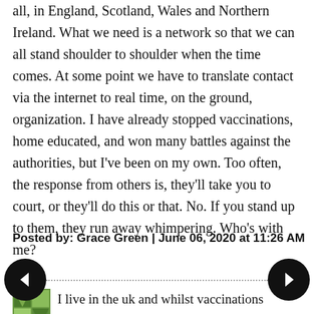all, in England, Scotland, Wales and Northern Ireland. What we need is a network so that we can all stand shoulder to shoulder when the time comes. At some point we have to translate contact via the internet to real time, on the ground, organization. I have already stopped vaccinations, home educated, and won many battles against the authorities, but I've been on my own. Too often, the response from others is, they'll take you to court, or they'll do this or that. No. If you stand up to them, they run away whimpering. Who's with me?
Posted by: Grace Green | June 06, 2020 at 11:26 AM
I live in the uk and whilst vaccinations